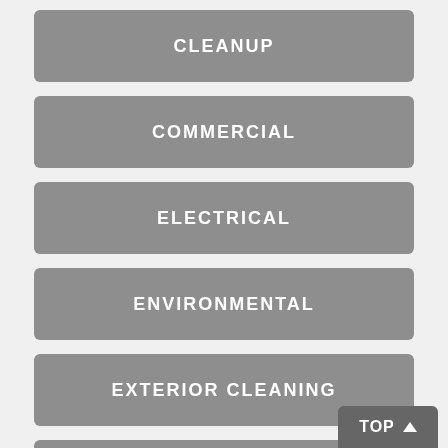CLEANUP
COMMERCIAL
ELECTRICAL
ENVIRONMENTAL
EXTERIOR CLEANING
FINANCING
TOP